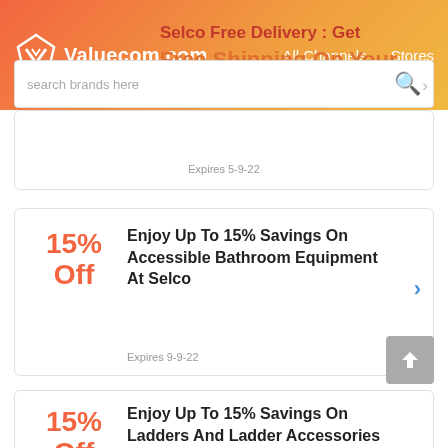Valuecom.com   All Channels   Stores
Selco Free Delivery : Get Free Shipping On Your Selco Order
Sales
search brands here
Expires 5-9-22
15% Off
Enjoy Up To 15% Savings On Accessible Bathroom Equipment At Selco
Expires 9-9-22
15% Off
Enjoy Up To 15% Savings On Ladders And Ladder Accessories At Selco
Expires 10-9-22